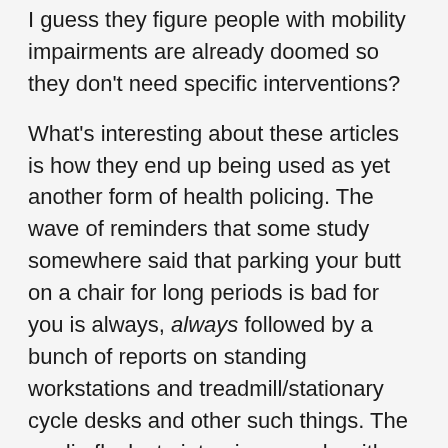I guess they figure people with mobility impairments are already doomed so they don't need specific interventions?
What's interesting about these articles is how they end up being used as yet another form of health policing. The wave of reminders that some study somewhere said that parking your butt on a chair for long periods is bad for you is always, always followed by a bunch of reports on standing workstations and treadmill/stationary cycle desks and other such things. The media flocks to interview people with 'unconventional workstations' so they can talk about how terrific and healthy and wonderful their workplaces are, with a sly note to readers, viewers, and listeners that they aren't trying hard enough to protect their health, and they should really be ashamed of themselves. They're probably sitting down right now.
Shaming behaviours around health are certainly nothing new. It seems to be a bit of a contact sport for much of